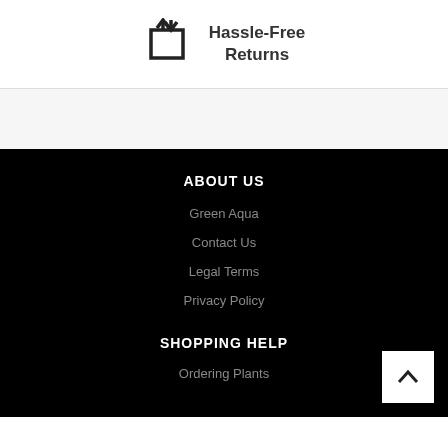[Figure (illustration): Returns icon showing arrows in a square cycle pattern with one arrow pointing down and one pointing up]
Hassle-Free Returns
ABOUT US
Green Aqua
Contact Us
Legal Terms
Privacy Policy
SHOPPING HELP
Ordering Plants